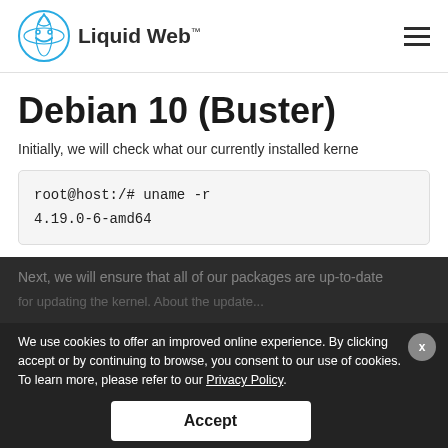[Figure (logo): Liquid Web logo with stylized water drop icon and text 'Liquid Web™']
Debian 10 (Buster)
Initially, we will check what our currently installed kerne
root@host:/# uname -r
4.19.0-6-amd64
Next, we will ensure that all of our packages are up-to-date before making any changes to our
We use cookies to offer an improved online experience. By clicking accept or by continuing to browse, you consent to our use of cookies. To learn more, please refer to our Privacy Policy.
Accept
Then, we need to se
CHAT WITH A HUMAN